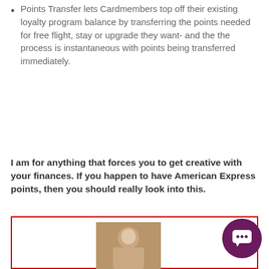Points Transfer lets Cardmembers top off their existing loyalty program balance by transferring the points needed for free flight, stay or upgrade they want- and the the process is instantaneous with points being transferred immediately.
I am for anything that forces you to get creative with your finances. If you happen to have American Express points, then you should really look into this.
[Figure (photo): A person photo inside a red-bordered box at the bottom of the page, with a purple chat bubble icon in the lower right corner.]